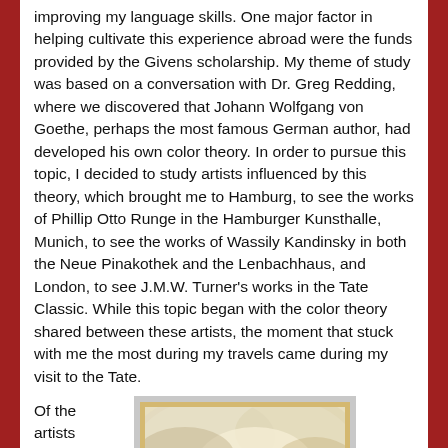improving my language skills. One major factor in helping cultivate this experience abroad were the funds provided by the Givens scholarship. My theme of study was based on a conversation with Dr. Greg Redding, where we discovered that Johann Wolfgang von Goethe, perhaps the most famous German author, had developed his own color theory. In order to pursue this topic, I decided to study artists influenced by this theory, which brought me to Hamburg, to see the works of Phillip Otto Runge in the Hamburger Kunsthalle, Munich, to see the works of Wassily Kandinsky in both the Neue Pinakothek and the Lenbachhaus, and London, to see J.M.W. Turner's works in the Tate Classic. While this topic began with the color theory shared between these artists, the moment that stuck with me the most during my travels came during my visit to the Tate.
Of the artists
[Figure (photo): A framed painting displayed on a wall, showing a landscape with misty, atmospheric colors — likely a Turner work. The painting has a gold frame and appears to be photographed in a museum setting.]